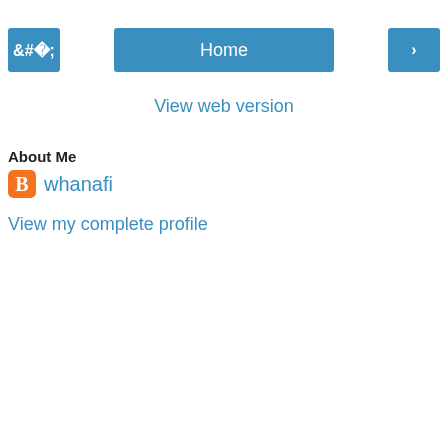[Figure (screenshot): Navigation bar with left arrow button, Home center button, and right arrow button, all in blue]
View web version
About Me
whanafi
View my complete profile